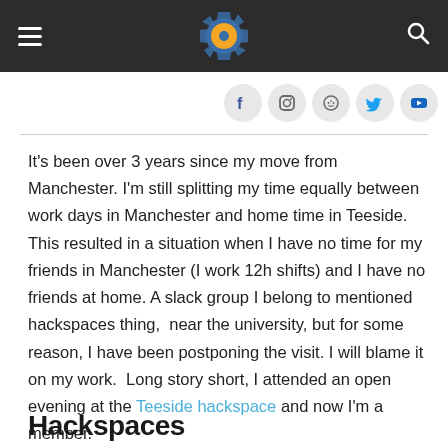Navigation bar with hamburger menu, gear logo, and search icon
[Figure (other): Social media icon bar with Facebook, Instagram, Reddit, Twitter, YouTube circular icons]
It's been over 3 years since my move from Manchester. I'm still splitting my time equally between work days in Manchester and home time in Teeside.  This resulted in a situation when I have no time for my friends in Manchester (I work 12h shifts) and I have no friends at home. A slack group I belong to mentioned hackspaces thing,  near the university, but for some reason, I have been postponing the visit. I will blame it on my work.  Long story short, I attended an open evening at the Teeside hackspace and now I'm a member.
Hackspaces